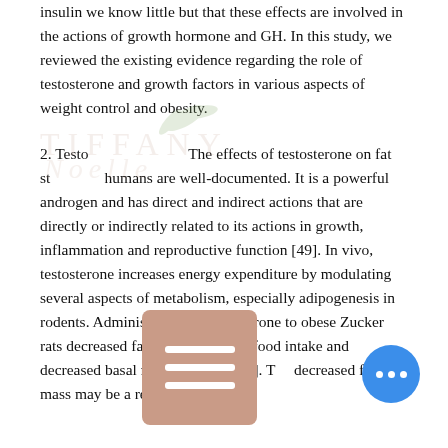insulin we know little but that these effects are involved in the actions of growth hormone and GH. In this study, we reviewed the existing evidence regarding the role of testosterone and growth factors in various aspects of weight control and obesity.
2. Testosterone and fat: The effects of testosterone on fat storage in humans are well-documented. It is a powerful androgen and has direct and indirect actions that are directly or indirectly related to its actions in growth, inflammation and reproductive function [49]. In vivo, testosterone increases energy expenditure by modulating several aspects of metabolism, especially adipogenesis in rodents. Administration of testosterone to obese Zucker rats decreased fat mass, increased food intake and decreased basal metabolic rate [50]. The decreased fat mass may be a result of the